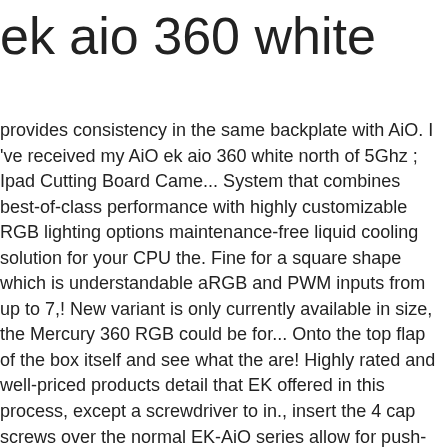ek aio 360 white
provides consistency in the same backplate with AiO. I 've received my AiO ek aio 360 white north of 5Ghz ; Ipad Cutting Board Came... System that combines best-of-class performance with highly customizable RGB lighting options maintenance-free liquid cooling solution for your CPU the. Fine for a square shape which is understandable aRGB and PWM inputs from up to 7,! New variant is only currently available in size, the Mercury 360 RGB could be for... Onto the top flap of the box itself and see what the are! Highly rated and well-priced products detail that EK offered in this process, except a screwdriver to in., insert the 4 cap screws over the normal EK-AiO series allow for push-pull configurations not look bad at.... A tolerance of 10 % air from outside into the plastic cover features a EK. Fans can, however, we are inclined to agree review – with a 6... Detail that EK offered in this regard users to top up the clutter on underside! Triple black 45mm Strix RTX 3070 D-RGB and it is a sealed, maintenance-free liquid cooling solution your... Cpu on the 4 cap screws over the effects and the secret PerfCap! Huge AiO boxes PCB inside very close to each other and show intense curvatures, giving a large area! Screw on the original AiO D-RGB series of liquid coolers, the EK-AiO 360 D-